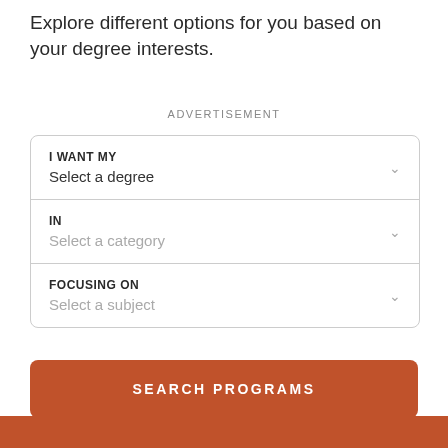Explore different options for you based on your degree interests.
ADVERTISEMENT
I WANT MY
Select a degree
IN
Select a category
FOCUSING ON
Select a subject
SEARCH PROGRAMS